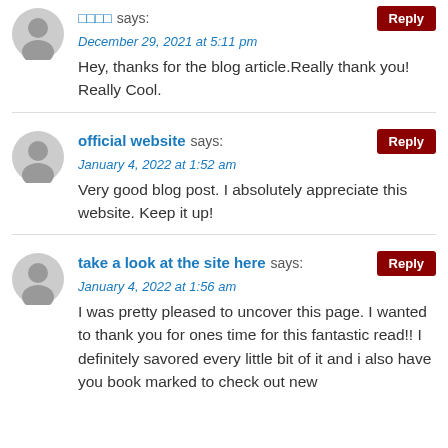□□□□ says: December 29, 2021 at 5:11 pm
Hey, thanks for the blog article.Really thank you! Really Cool.
official website says: January 4, 2022 at 1:52 am
Very good blog post. I absolutely appreciate this website. Keep it up!
take a look at the site here says: January 4, 2022 at 1:56 am
I was pretty pleased to uncover this page. I wanted to thank you for ones time for this fantastic read!! I definitely savored every little bit of it and i also have you book marked to check out new